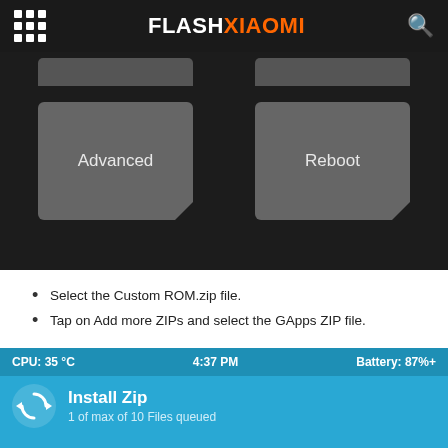FLASHXIAOMI
[Figure (screenshot): Android recovery screen showing two buttons: 'Advanced' and 'Reboot' on dark background]
Select the Custom ROM.zip file.
Tap on Add more ZIPs and select the GApps ZIP file.
[Figure (screenshot): TWRP/CWM recovery status bar showing CPU: 35°C, 4:37 PM, Battery: 87%+, and Install Zip menu item with '1 of max of 10 Files queued']